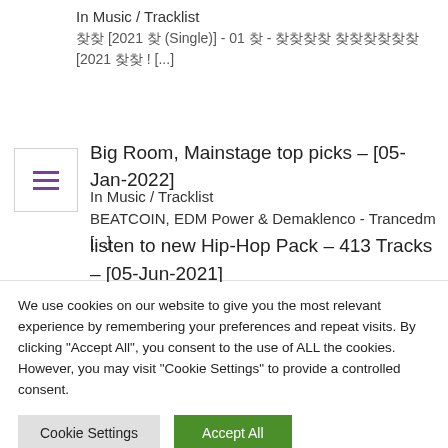In Music / Tracklist
찾아 [2021 찾 (Single)] - 01 찾 - 찾찾찾찾 찾찾찾찾찾찾 [2021 찾찾 ! [...]
Big Room, Mainstage top picks – [05-Jan-2022]
In Music / Tracklist
BEATCOIN, EDM Power & Demaklenco - Trancedm [...]
listen to new Hip-Hop Pack – 413 Tracks – [05-Jun-2021]
We use cookies on our website to give you the most relevant experience by remembering your preferences and repeat visits. By clicking "Accept All", you consent to the use of ALL the cookies. However, you may visit "Cookie Settings" to provide a controlled consent.